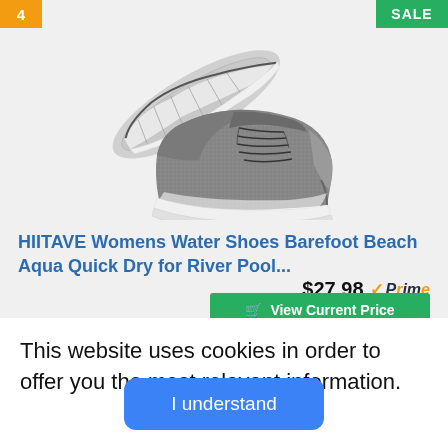4
SALE
[Figure (photo): Two athletic water shoes in gray/black colorway - one shown from below revealing the sole pattern, one shown from the side at an angle]
HIITAVE Womens Water Shoes Barefoot Beach Aqua Quick Dry for River Pool...
$27.98 ✓Prime
View Current Price
This website uses cookies in order to offer you the most relavant information.
I understand